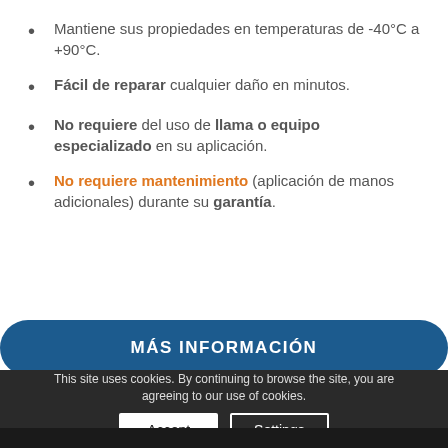Mantiene sus propiedades en temperaturas de -40°C a +90°C.
Fácil de reparar cualquier daño en minutos.
No requiere del uso de llama o equipo especializado en su aplicación.
No requiere mantenimiento (aplicación de manos adicionales) durante su garantía.
MÁS INFORMACIÓN
This site uses cookies. By continuing to browse the site, you are agreeing to our use of cookies.